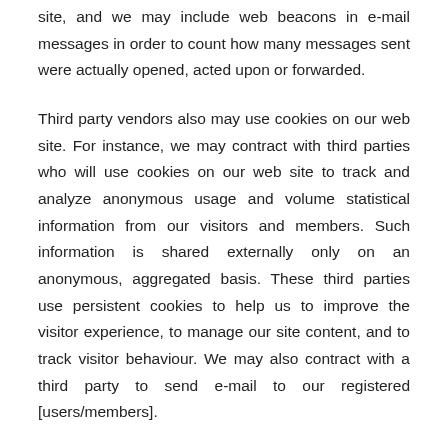site, and we may include web beacons in e-mail messages in order to count how many messages sent were actually opened, acted upon or forwarded.
Third party vendors also may use cookies on our web site. For instance, we may contract with third parties who will use cookies on our web site to track and analyze anonymous usage and volume statistical information from our visitors and members. Such information is shared externally only on an anonymous, aggregated basis. These third parties use persistent cookies to help us to improve the visitor experience, to manage our site content, and to track visitor behaviour. We may also contract with a third party to send e-mail to our registered [users/members].
To help measure and improve the effectiveness of our e-